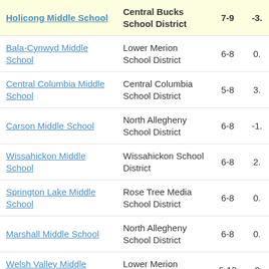| School | District | Grades | Score |
| --- | --- | --- | --- |
| Holicong Middle School | Central Bucks School District | 7-9 | -3. |
| Bala-Cynwyd Middle School | Lower Merion School District | 6-8 | 0. |
| Central Columbia Middle School | Central Columbia School District | 5-8 | 3. |
| Carson Middle School | North Allegheny School District | 6-8 | -1. |
| Wissahickon Middle School | Wissahickon School District | 6-8 | 2. |
| Springton Lake Middle School | Rose Tree Media School District | 6-8 | 0. |
| Marshall Middle School | North Allegheny School District | 6-8 | 0. |
| Welsh Valley Middle School | Lower Merion School District | 6-10 | -0. |